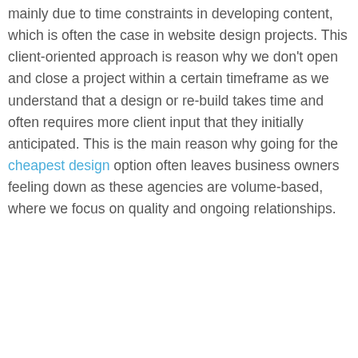mainly due to time constraints in developing content, which is often the case in website design projects. This client-oriented approach is reason why we don't open and close a project within a certain timeframe as we understand that a design or re-build takes time and often requires more client input that they initially anticipated. This is the main reason why going for the cheapest design option often leaves business owners feeling down as these agencies are volume-based, where we focus on quality and ongoing relationships.